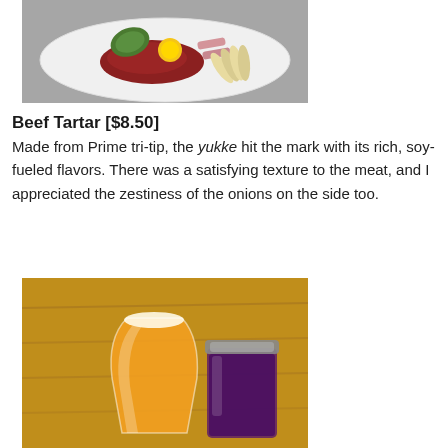[Figure (photo): A white oval plate with beef tartar topped with a yellow egg yolk, garnished with green shiso leaf, pink cured meat slices, and fanned mushroom slices, on a gray granite surface.]
Beef Tartar [$8.50]
Made from Prime tri-tip, the yukke hit the mark with its rich, soy-fueled flavors. There was a satisfying texture to the meat, and I appreciated the zestiness of the onions on the side too.
[Figure (photo): A glass of orange craft beer and a mason jar of dark purple drink on a wooden table surface.]